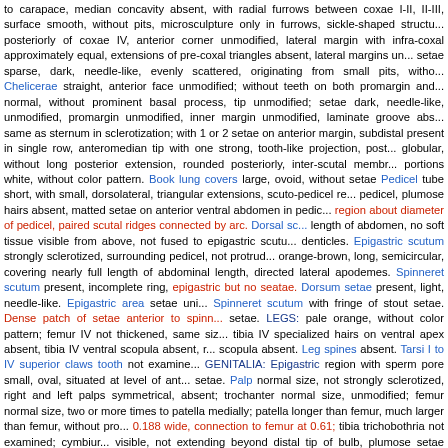to carapace, median concavity absent, with radial furrows between coxae I-II, II-III, surface smooth, without pits, microsculpture only in furrows, sickle-shaped structu... posteriorly of coxae IV, anterior corner unmodified, lateral margin with infra-coxal approximately equal, extensions of pre-coxal triangles absent, lateral margins un... setae sparse, dark, needle-like, evenly scattered, originating from small pits, witho... Chelicerae straight, anterior face unmodified; without teeth on both promargin and... normal, without prominent basal process, tip unmodified; setae dark, needle-like, unmodified, promargin unmodified, inner margin unmodified, laminate groove abs... same as sternum in sclerotization; with 1 or 2 setae on anterior margin, subdistal present in single row, anteromedian tip with one strong, tooth-like projection, post... globular, without long posterior extension, rounded posteriorly, inter-scutal membr... portions white, without color pattern. Book lung covers large, ovoid, without setae Pedicel tube short, with small, dorsolateral, triangular extensions, scuto-pedicel re... pedicel, plumose hairs absent, matted setae on anterior ventral abdomen in pedic... region about diameter of pedicel, paired scutal ridges connected by arc. Dorsal sc... length of abdomen, no soft tissue visible from above, not fused to epigastric scutu... denticles. Epigastric scutum strongly sclerotized, surrounding pedicel, not protrud... orange-brown, long, semicircular, covering nearly full length of abdominal length, directed lateral apodemes. Spinneret scutum present, incomplete ring, epigastric but no seatae. Dorsum setae present, light, needle-like. Epigastric area setae uni... Spinneret scutum with fringe of stout setae. Dense patch of setae anterior to spinn... setae. LEGS: pale orange, without color pattern; femur IV not thickened, same siz... tibia IV specialized hairs on ventral apex absent, tibia IV ventral scopula absent, r... scopula absent. Leg spines absent. Tarsi I to IV superior claws tooth not examine... GENITALIA: Epigastric region with sperm pore small, oval, situated at level of ant... setae. Palp normal size, not strongly sclerotized, right and left palps symmetrical, absent; trochanter normal size, unmodified; femur normal size, two or more times to patella medially; patella longer than femur, much larger than femur, without pro... 0.188 wide, connection to femur at 0.61; tibia trichobothria not examined; cymbiur... visible, not extending beyond distal tip of bulb, plumose setae absent, without sto... as cymbium, slender, tapering apically, bulb ventrally slightly bulged tip prolaterall... from incision..